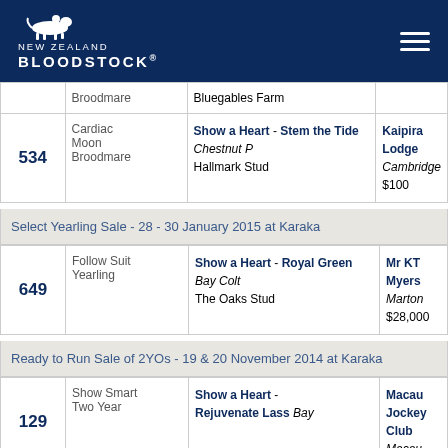[Figure (logo): New Zealand Bloodstock logo with horse icon on dark blue background]
| Lot | Horse | Pedigree / Stud | Buyer / Price |
| --- | --- | --- | --- |
|  | Broodmare | Bluegables Farm |  |
| 534 | Cardiac Moon Broodmare | Show a Heart - Stem the Tide Chestnut P Hallmark Stud | Kaipira Lodge Cambridge $100 |
Select Yearling Sale - 28 - 30 January 2015 at Karaka
| Lot | Horse | Pedigree / Stud | Buyer / Price |
| --- | --- | --- | --- |
| 649 | Follow Suit Yearling | Show a Heart - Royal Green Bay Colt The Oaks Stud | Mr KT Myers Marton $28,000 |
Ready to Run Sale of 2YOs - 19 & 20 November 2014 at Karaka
| Lot | Horse | Pedigree / Stud | Buyer / Price |
| --- | --- | --- | --- |
| 129 | Show Smart Two Year | Show a Heart - Rejuvenate Lass Bay | Macau Jockey Club Macau |